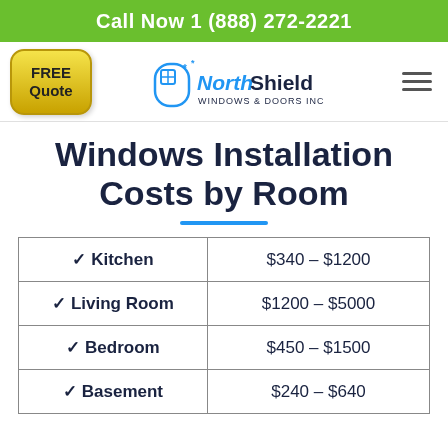Call Now 1 (888) 272-2221
[Figure (logo): NorthShield Windows & Doors Inc logo with FREE Quote button and hamburger menu]
Windows Installation Costs by Room
| Room | Cost Range |
| --- | --- |
| ✓ Kitchen | $340 – $1200 |
| ✓ Living Room | $1200 – $5000 |
| ✓ Bedroom | $450 – $1500 |
| ✓ Basement | $240 – $640 |